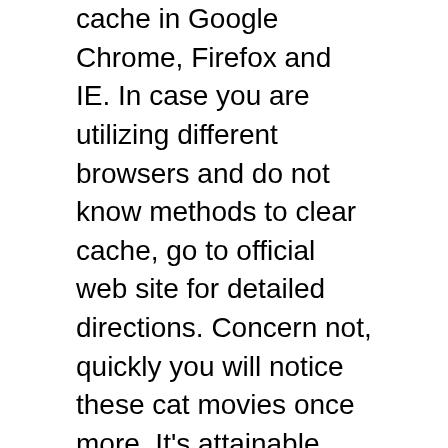cache in Google Chrome, Firefox and IE. In case you are utilizing different browsers and do not know methods to clear cache, go to official web site for detailed directions. Concern not, quickly you will notice these cat movies once more. It's attainable that YouTube is down for everybody, however that's extra your downside.
Whether or not it's infinitely buffered movies, the YouTube app just isn't loading or one thing else solely, our desktop and cellular the troubleshooting steps ought to provide help to get YouTube working once more. Nevertheless, regardless of its immense reputation, customers generally face numerous issues. From black display screen to fixed buffering and playback errors, there are lots of points that YouTube wants to deal with.